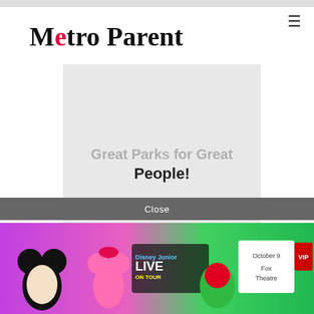Metro Parent
Great Parks for Great People!
[Figure (logo): Oakland County Parks advertisement: OAKLAND COUNTY PARKS logo in green and teal. Text: Great Parks for Great People, OaklandCountyParks.com with social media icons]
Close
[Figure (photo): Disney Junior Live On Tour advertisement banner: Mickey Mouse, Minnie Mouse, Goofy and Spidey characters on colorful background. Text: October 9, Fox Theatre, VIP]